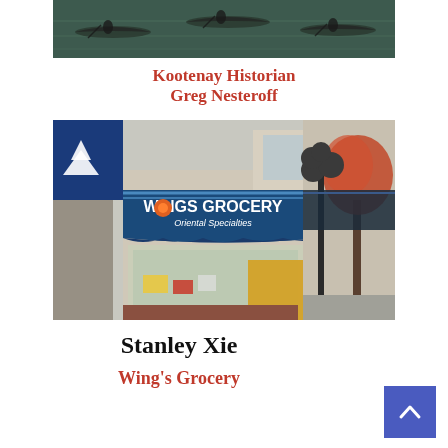[Figure (photo): Black and white historical photo of people in canoes on a lake or river, teal/dark green toned]
Kootenay Historian
Greg Nesteroff
[Figure (photo): Composite photo of Wing's Grocery store with blue awning reading 'WINGS GROCERY Oriental Specialties', showing storefront with display window and lamp post on street]
Stanley Xie
Wing's Grocery